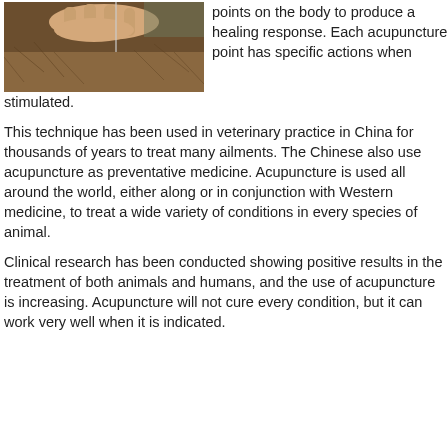[Figure (photo): Close-up photo of a person's hands inserting an acupuncture needle into the fur/skin of a brown animal (likely a dog or cat).]
points on the body to produce a healing response. Each acupuncture point has specific actions when stimulated.
This technique has been used in veterinary practice in China for thousands of years to treat many ailments. The Chinese also use acupuncture as preventative medicine. Acupuncture is used all around the world, either along or in conjunction with Western medicine, to treat a wide variety of conditions in every species of animal.
Clinical research has been conducted showing positive results in the treatment of both animals and humans, and the use of acupuncture is increasing. Acupuncture will not cure every condition, but it can work very well when it is indicated.